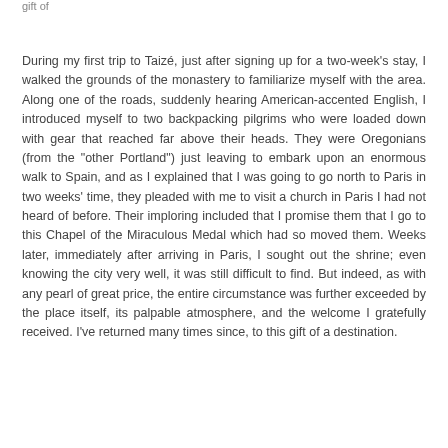gift of
During my first trip to Taizé, just after signing up for a two-week's stay, I walked the grounds of the monastery to familiarize myself with the area. Along one of the roads, suddenly hearing American-accented English, I introduced myself to two backpacking pilgrims who were loaded down with gear that reached far above their heads. They were Oregonians (from the "other Portland") just leaving to embark upon an enormous walk to Spain, and as I explained that I was going to go north to Paris in two weeks' time, they pleaded with me to visit a church in Paris I had not heard of before. Their imploring included that I promise them that I go to this Chapel of the Miraculous Medal which had so moved them. Weeks later, immediately after arriving in Paris, I sought out the shrine; even knowing the city very well, it was still difficult to find. But indeed, as with any pearl of great price, the entire circumstance was further exceeded by the place itself, its palpable atmosphere, and the welcome I gratefully received. I've returned many times since, to this gift of a destination.